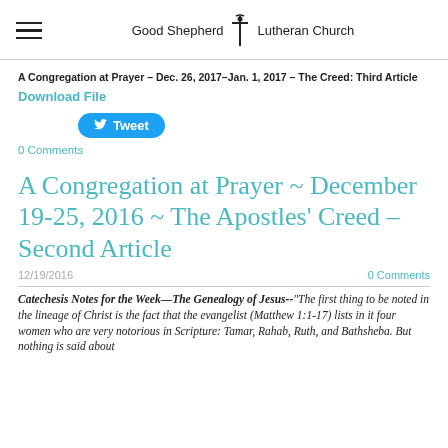Good Shepherd Lutheran Church
A Congregation at Prayer – Dec. 26, 2017–Jan. 1, 2017 – The Creed: Third Article
Download File
Tweet
0 Comments
A Congregation at Prayer ~ December 19-25, 2016 ~ The Apostles' Creed – Second Article
12/19/2016
0 Comments
Catechesis Notes for the Week—The Genealogy of Jesus--"The first thing to be noted in the lineage of Christ is the fact that the evangelist (Matthew 1:1-17) lists in it four women who are very notorious in Scripture: Tamar, Rahab, Ruth, and Bathsheba. But nothing is said about